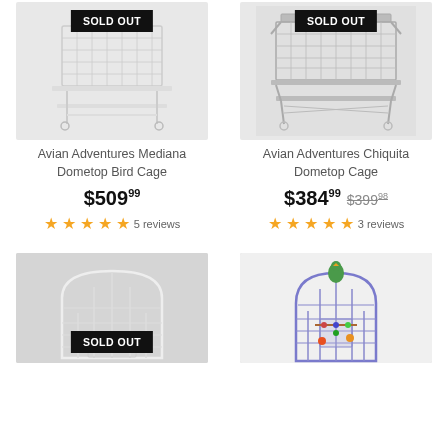[Figure (photo): White bird cage with 'SOLD OUT' badge - Avian Adventures Mediana Dometop Bird Cage]
[Figure (photo): Gray bird cage with 'SOLD OUT' badge - Avian Adventures Chiquita Dometop Cage]
Avian Adventures Mediana Dometop Bird Cage
Avian Adventures Chiquita Dometop Cage
$509.99
$384.99 $399.98
5 reviews
3 reviews
[Figure (photo): White arched bird cage with 'SOLD OUT' badge]
[Figure (photo): Blue/purple bird cage with green parrot and colorful birds inside]